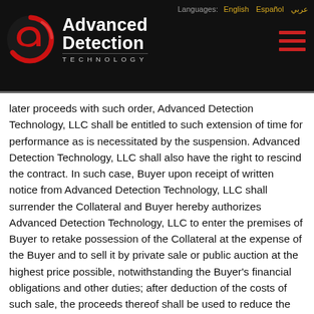Advanced Detection Technology — Languages: English Español عربي
later proceeds with such order, Advanced Detection Technology, LLC shall be entitled to such extension of time for performance as is necessitated by the suspension. Advanced Detection Technology, LLC shall also have the right to rescind the contract. In such case, Buyer upon receipt of written notice from Advanced Detection Technology, LLC shall surrender the Collateral and Buyer hereby authorizes Advanced Detection Technology, LLC to enter the premises of Buyer to retake possession of the Collateral at the expense of the Buyer and to sell it by private sale or public auction at the highest price possible, notwithstanding the Buyer's financial obligations and other duties; after deduction of the costs of such sale, the proceeds thereof shall be used to reduce the Buyer's debt; any remaining surplus shall be made available to the Buyer.